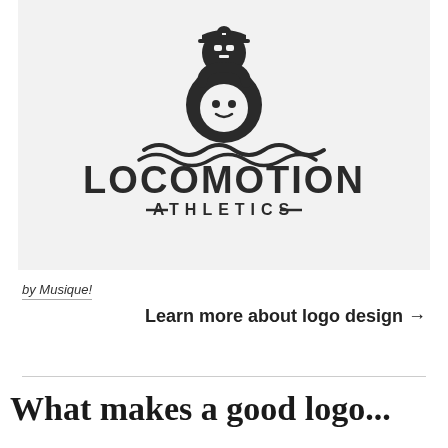[Figure (logo): Locomotion Athletics logo: a kettlebell with a pirate skull figure above stylized waves, with text LOCOMOTION in bold uppercase and ATHLETICS in spaced smaller uppercase with decorative dashes]
by Musique!
Learn more about logo design →
What makes a good logo...